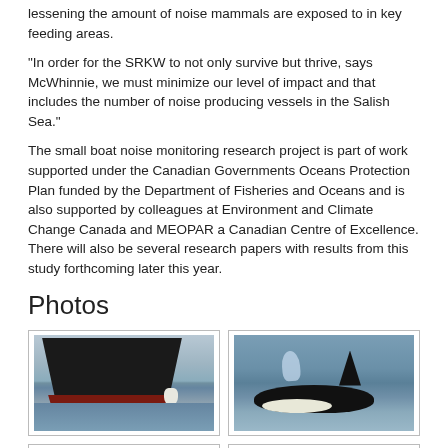lessening the amount of noise mammals are exposed to in key feeding areas.
“In order for the SRKW to not only survive but thrive, says McWhinnie, we must minimize our level of impact and that includes the number of noise producing vessels in the Salish Sea.”
The small boat noise monitoring research project is part of work supported under the Canadian Governments Oceans Protection Plan funded by the Department of Fisheries and Oceans and is also supported by colleagues at Environment and Climate Change Canada and MEOPAR a Canadian Centre of Excellence. There will also be several research papers with results from this study forthcoming later this year.
Photos
[Figure (photo): Large dark cargo ship hull seen from the water level, with red bottom paint visible, in open water]
[Figure (photo): Orca whale surfacing with visible blow/spout and dorsal fin in blue water]
[Figure (photo): Orca whale partially visible at water surface]
[Figure (photo): Group of orca whales with multiple dorsal fins visible at water surface]